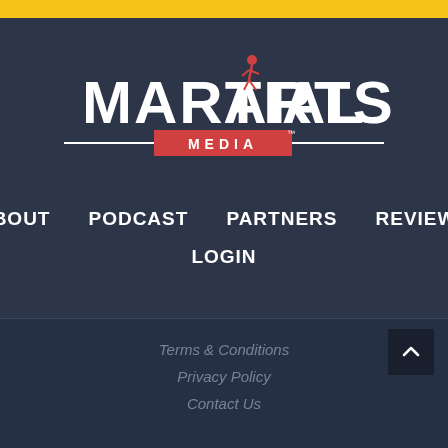[Figure (logo): Martial Arts Media logo with stylized text and red MEDIA badge]
ABOUT
PODCAST
PARTNERS
REVIEWS
LOGIN
Terms & Conditions  Privacy Policy  Contact Us